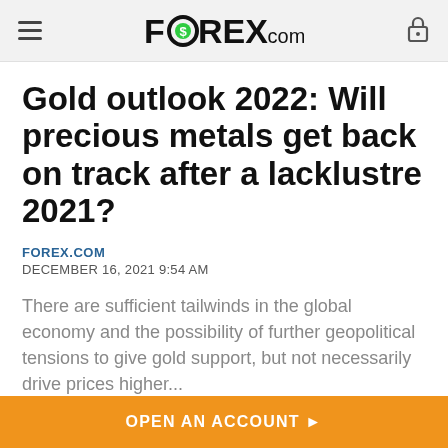FOREX.com
Gold outlook 2022: Will precious metals get back on track after a lacklustre 2021?
FOREX.COM
DECEMBER 16, 2021 9:54 AM
There are sufficient tailwinds in the global economy and the possibility of further geopolitical tensions to give gold support, but not necessarily drive prices higher...
Share:
OPEN AN ACCOUNT ▶